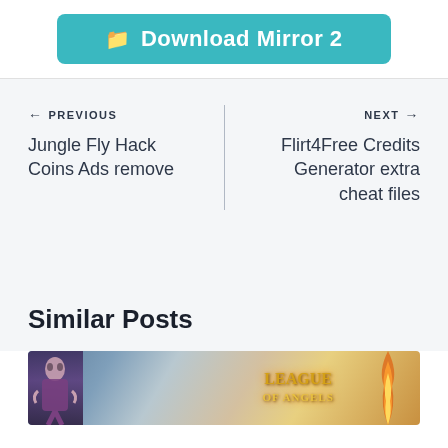[Figure (other): Teal rounded button labeled 'Download Mirror 2' with a folder icon on the left]
← PREVIOUS
Jungle Fly Hack Coins Ads remove
NEXT →
Flirt4Free Credits Generator extra cheat files
Similar Posts
[Figure (screenshot): Screenshot thumbnail showing League of Angels game artwork with a female character and fiery logo text]